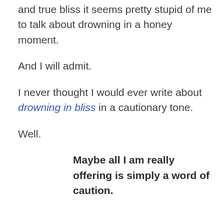and true bliss it seems pretty stupid of me to talk about drowning in a honey moment.
And I will admit.
I never thought I would ever write about drowning in bliss in a cautionary tone.
Well.
Maybe all I am really offering is simply a word of caution.